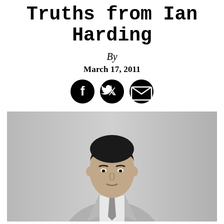Truths from Ian Harding
By
March 17, 2011
[Figure (other): Social media share icons: Facebook, Twitter, Email]
[Figure (photo): Black and white portrait photo of Ian Harding wearing a light suit and tie, looking directly at the camera]